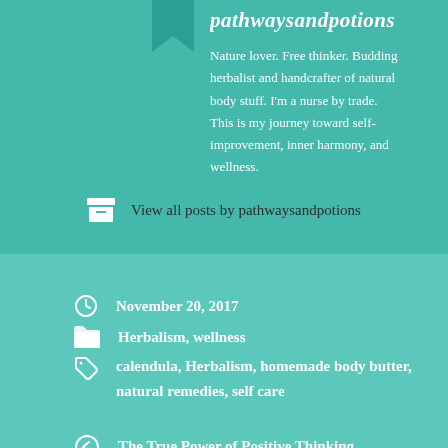pathwaysandpotions
Nature lover. Free thinker. Budding herbalist and handcrafter of natural body stuff. I'm a nurse by trade. This is my journey toward self-improvement, inner harmony, and wellness.
View all posts by pathwaysandpotions
November 20, 2017
Herbalism, wellness
calendula, Herbalism, homemade body butter, natural remedies, self care
The True Power of Positive Thinking
How to Make an Herbal Tincture